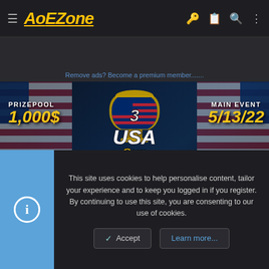AoEZone navigation bar with hamburger menu, logo, and icons
Remove ads? Become a premium member.......
[Figure (photo): 3rd USA Cup tournament banner showing prizepool 1,000$, main event 5/13/22, with trophy logo, USA flag background, and casters: Twitch/Facebook 5PRINGTV - GRATHWRANG - T900OFFICIAL]
This site uses cookies to help personalise content, tailor your experience and to keep you logged in if you register. By continuing to use this site, you are consenting to our use of cookies.
Accept
Learn more...